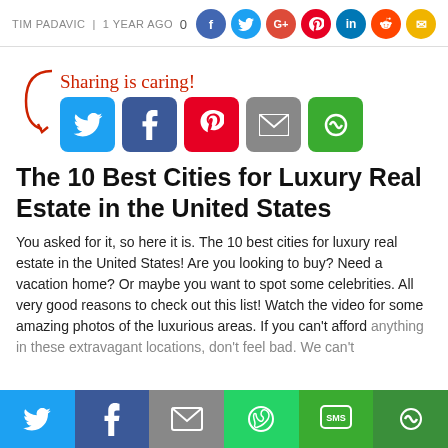TIM PADAVIC | 1 YEAR AGO
[Figure (infographic): Social media share icons row: Facebook (purple), Twitter (blue), Google+ (red), Pinterest (red), LinkedIn (teal), Reddit (orange-red), Email (yellow)]
[Figure (infographic): Sharing is caring! text with arrow and social share buttons: Twitter (blue), Facebook (dark blue), Pinterest (red), Email (gray), SumoMe (green)]
The 10 Best Cities for Luxury Real Estate in the United States
You asked for it, so here it is. The 10 best cities for luxury real estate in the United States! Are you looking to buy? Need a vacation home? Or maybe you want to spot some celebrities. All very good reasons to check out this list! Watch the video for some amazing photos of the luxurious areas. If you can't afford anything in these extravagant locations, don't feel bad. We can't
[Figure (infographic): Bottom social share bar with Twitter, Facebook, Email, WhatsApp, SMS/SumoMe buttons]